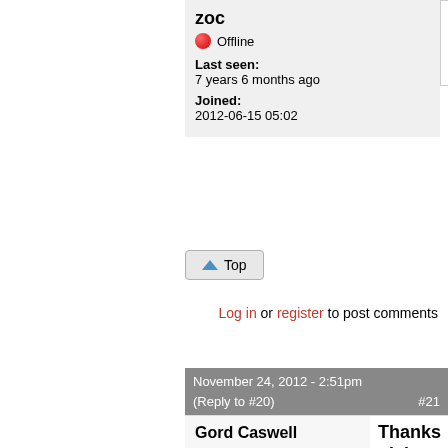zoc
Offline
Last seen: 7 years 6 months ago
Joined: 2012-06-15 05:02
Hmm...
Hmm, three days and no response yet?
Top
Log in or register to post comments
November 24, 2012 - 2:51pm (Reply to #20) #21
Gord Caswell
Offline
Last seen: 13 hours 27 min ago
Joined:
Thanksgiving weekend
This weekend is Thank